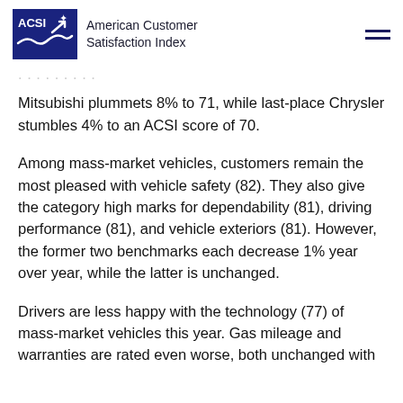ACSI — American Customer Satisfaction Index
Mitsubishi plummets 8% to 71, while last-place Chrysler stumbles 4% to an ACSI score of 70.
Among mass-market vehicles, customers remain the most pleased with vehicle safety (82). They also give the category high marks for dependability (81), driving performance (81), and vehicle exteriors (81). However, the former two benchmarks each decrease 1% year over year, while the latter is unchanged.
Drivers are less happy with the technology (77) of mass-market vehicles this year. Gas mileage and warranties are rated even worse, both unchanged with